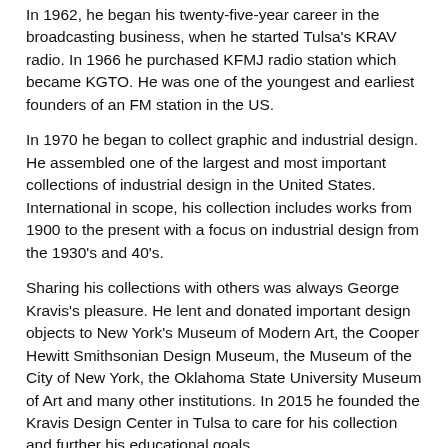In 1962, he began his twenty-five-year career in the broadcasting business, when he started Tulsa's KRAV radio. In 1966 he purchased KFMJ radio station which became KGTO. He was one of the youngest and earliest founders of an FM station in the US.
In 1970 he began to collect graphic and industrial design. He assembled one of the largest and most important collections of industrial design in the United States. International in scope, his collection includes works from 1900 to the present with a focus on industrial design from the 1930's and 40's.
Sharing his collections with others was always George Kravis's pleasure. He lent and donated important design objects to New York's Museum of Modern Art, the Cooper Hewitt Smithsonian Design Museum, the Museum of the City of New York, the Oklahoma State University Museum of Art and many other institutions. In 2015 he founded the Kravis Design Center in Tulsa to care for his collection and further his educational goals.
Rizzoli published two books on the collection- 100 Designs for a Modern World- in 2016 and Industrial Design in the Modern Age in 2018.